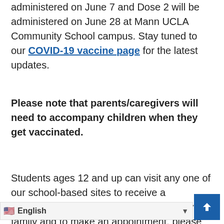administered on June 7 and Dose 2 will be administered on June 28 at Mann UCLA Community School campus. Stay tuned to our COVID-19 vaccine page for the latest updates.
Please note that parents/caregivers will need to accompany children when they get vaccinated.
Students ages 12 and up can visit any one of our school-based sites to receive a vaccination. To find the best location for your family and to make an appointment, please visit dailypass.lausd.net.